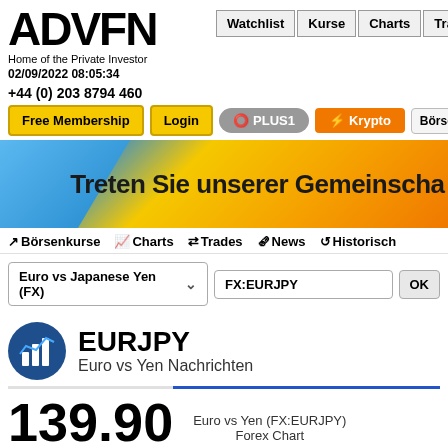[Figure (logo): ADVFN logo with tagline 'Home of the Private Investor' and date 02/09/2022 08:05:34]
Watchlist | Kurse | Charts | Trades
+44 (0) 203 8794 460
Free Membership  Login  PLUS1  Krypto  Börse & Märkt
[Figure (illustration): Banner: 'Treten Sie unserer Gemeinschaft' on yellow/orange gradient with blue triangle]
Börsenkurse  Charts  Trades  News  Historisch
Euro vs Japanese Yen (FX)  FX:EURJPY  OK
EURJPY
Euro vs Yen Nachrichten
139.90
Euro vs Yen (FX:EURJPY) Forex Chart